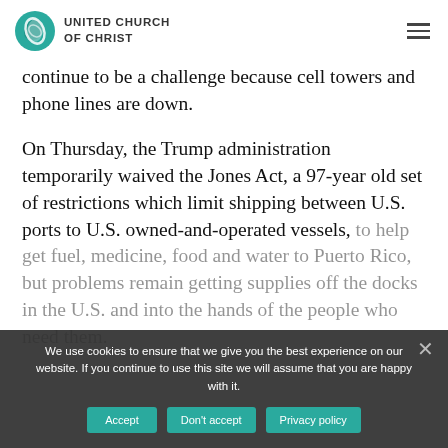UNITED CHURCH OF CHRIST
continue to be a challenge because cell towers and phone lines are down.
On Thursday, the Trump administration temporarily waived the Jones Act, a 97-year old set of restrictions which limit shipping between U.S. ports to U.S. owned-and-operated vessels, to help get fuel, medicine, food and water to Puerto Rico, but problems remain getting supplies off the docks in the U.S. and into the hands of the people who need them.
We use cookies to ensure that we give you the best experience on our website. If you continue to use this site we will assume that you are happy with it.